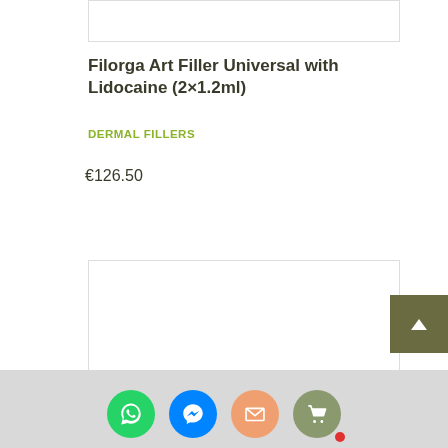[Figure (photo): Top product image placeholder (white rectangle with border)]
Filorga Art Filler Universal with Lidocaine (2×1.2ml)
DERMAL FILLERS
€126.50
[Figure (photo): Bottom product image placeholder (white rectangle with border)]
[Figure (other): Social sharing bar with WhatsApp, Messenger, Email, and Cart icons]